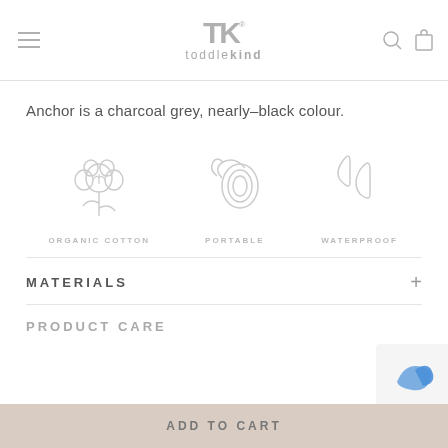toddlekind
Anchor is a charcoal grey, nearly-black colour.
[Figure (illustration): Three product feature icons: organic cotton (cotton plant), portable (rolled blanket), waterproof (water drops) with labels ORGANIC COTTON, PORTABLE, WATERPROOF]
MATERIALS
PRODUCT CARE
ADD TO CART